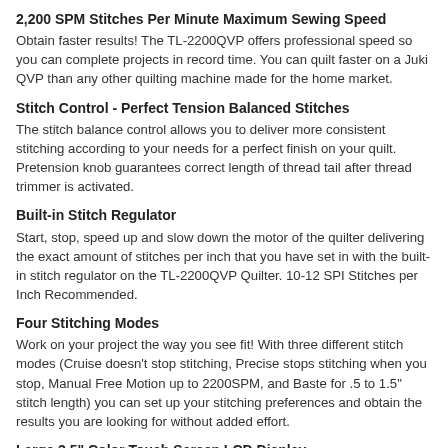2,200 SPM Stitches Per Minute Maximum Sewing Speed
Obtain faster results! The TL-2200QVP offers professional speed so you can complete projects in record time. You can quilt faster on a Juki QVP than any other quilting machine made for the home market.
Stitch Control - Perfect Tension Balanced Stitches
The stitch balance control allows you to deliver more consistent stitching according to your needs for a perfect finish on your quilt. Pretension knob guarantees correct length of thread tail after thread trimmer is activated.
Built-in Stitch Regulator
Start, stop, speed up and slow down the motor of the quilter delivering the exact amount of stitches per inch that you have set in with the built-in stitch regulator on the TL-2200QVP Quilter. 10-12 SPI Stitches per Inch Recommended.
Four Stitching Modes
Work on your project the way you see fit! With three different stitch modes (Cruise doesn't stop stitching, Precise stops stitching when you stop, Manual Free Motion up to 2200SPM, and Baste for .5 to 1.5" stitch length) you can set up your stitching preferences and obtain the results you are looking for without added effort.
Large 3.5" Color Touch Screen LCD Display
Maintain absolute control with a top of the line Color LCD touch panel display